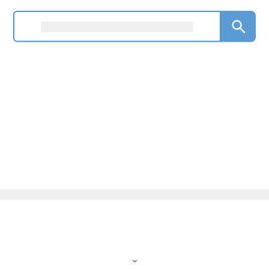[Figure (screenshot): Search bar with blue border and blue search button with magnifying glass icon]
84% OFF 🔖56-WEEK CURRICULUM DEAL
BIBLE HEROES × FREE LESSON